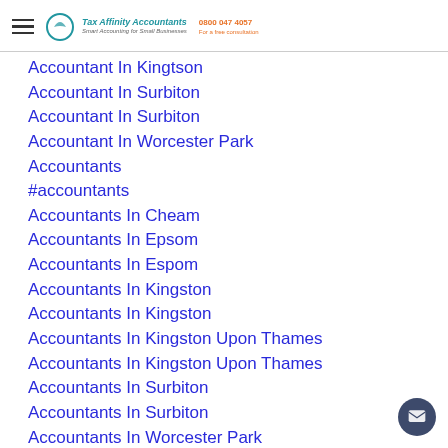Tax Affinity Accountants | 0800 047 4057
Accountant In Kingtson
Accountant In Surbiton
Accountant In Surbiton
Accountant In Worcester Park
Accountants
#accountants
Accountants In Cheam
Accountants In Epsom
Accountants In Espom
Accountants In Kingston
Accountants In Kingston
Accountants In Kingston Upon Thames
Accountants In Kingston Upon Thames
Accountants In Surbiton
Accountants In Surbiton
Accountants In Worcester Park
Affinity
Affinity T…